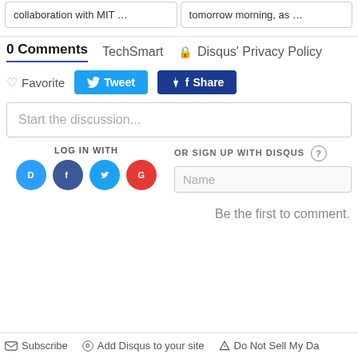collaboration with MIT …
tomorrow morning, as …
0 Comments   TechSmart   🔒 Disqus' Privacy Policy
♡ Favorite   Tweet   Share
Start the discussion...
LOG IN WITH
OR SIGN UP WITH DISQUS ?
Name
Be the first to comment.
Subscribe   Add Disqus to your site   Do Not Sell My Da